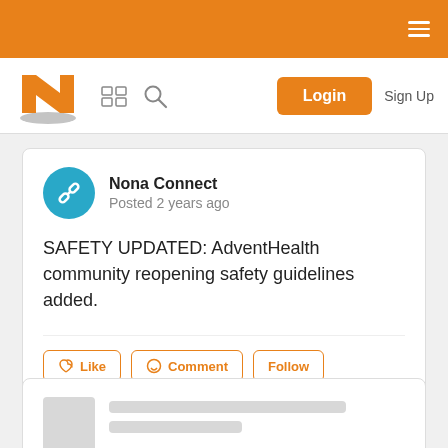[Figure (screenshot): Orange top navigation bar with hamburger menu icon (three horizontal lines) on the right side]
[Figure (screenshot): White navigation bar with Nona Connect logo (orange N), grid icon, search icon, orange Login button, and Sign Up text]
Nona Connect
Posted 2 years ago
SAFETY UPDATED: AdventHealth community reopening safety guidelines added.
Like  Comment  Follow
[Figure (screenshot): Skeleton loading card with gray placeholder avatar and gray placeholder lines for content]